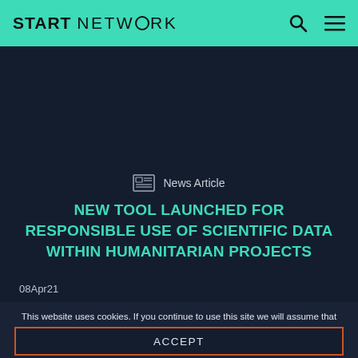START NETWORK
News Article
NEW TOOL LAUNCHED FOR RESPONSIBLE USE OF SCIENTIFIC DATA WITHIN HUMANITARIAN PROJECTS
08Apr21
This website uses cookies. If you continue to use this site we will assume that you agree to this. Read more..
ACCEPT